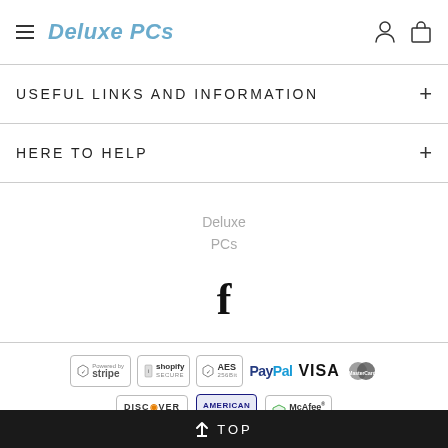Deluxe PCs
USEFUL LINKS AND INFORMATION
HERE TO HELP
Deluxe PCs
[Figure (logo): Facebook logo icon (f)]
[Figure (infographic): Payment badges: Stripe, Shopify Secure, AES 256-bit, PayPal, VISA, Mastercard, Discover Network, American Express, McAfee Secure]
↑ TOP